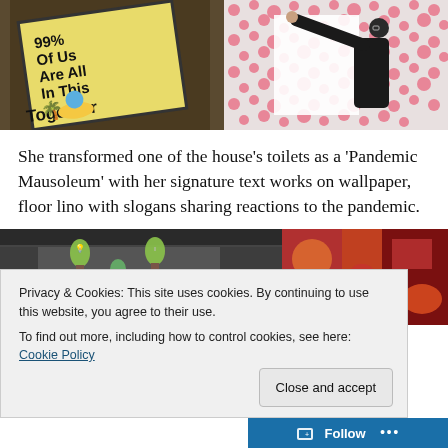[Figure (photo): Two photos side by side: left shows a yellow poster on a printing press reading '99% Of Us Are All In This Together' with a palm tree illustration; right shows a person in black reaching up to place artwork on a wall covered with pink patterned wallpaper.]
She transformed one of the house’s toilets as a ‘Pandemic Mausoleum’ with her signature text works on wallpaper, floor lino with slogans sharing reactions to the pandemic.
[Figure (screenshot): Two images side by side: left shows a computer screen with design software open showing hanging light bulb illustrations; right shows colorful artwork with deep red and orange tones.]
Privacy & Cookies: This site uses cookies. By continuing to use this website, you agree to their use.
To find out more, including how to control cookies, see here: Cookie Policy
Close and accept
Follow